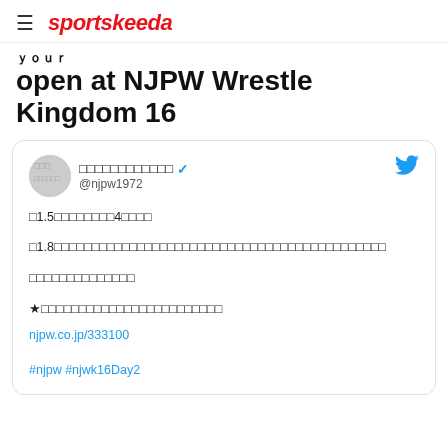≡ sportskeeda
open at NJPW Wrestle Kingdom 16
[Figure (screenshot): Embedded tweet from @njpw1972 with Japanese text content, a link njpw.co.jp/333100, and hashtags #njpw #njwk16Day2]